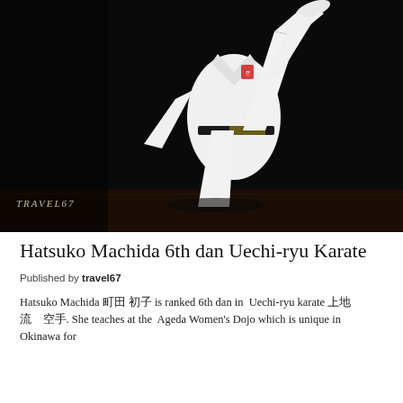[Figure (photo): A karate practitioner in a white gi performing a high kick against a dark black background. The person wears a black belt. A watermark reading TRAVEL67 appears in the lower left of the image.]
Hatsuko Machida 6th dan Uechi-ryu Karate
Published by travel67
Hatsuko Machida 町田 初子 is ranked 6th dan in Uechi-ryu karate 上地流 空手. She teaches at the Ageda Women's Dojo which is unique in Okinawa for